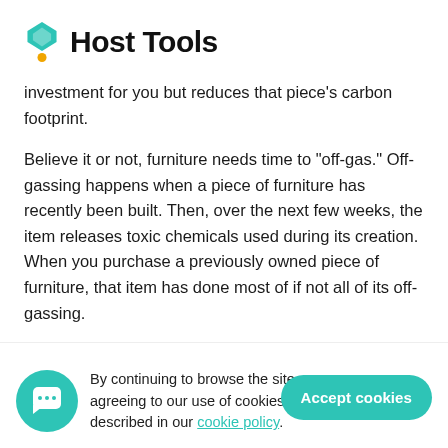Host Tools
investment for you but reduces that piece's carbon footprint.
Believe it or not, furniture needs time to "off-gas." Off-gassing happens when a piece of furniture has recently been built. Then, over the next few weeks, the item releases toxic chemicals used during its creation. When you purchase a previously owned piece of furniture, that item has done most of if not all of its off-gassing.
Investing in recycled furniture is better for the planet, your wallet, and your lungs.
By continuing to browse the site, you are agreeing to our use of cookies as described in our cookie policy.